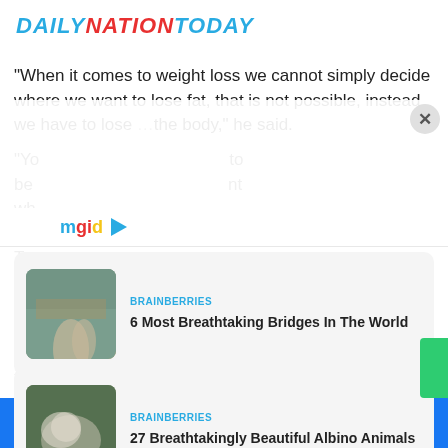DAILYNATIONTODAY
“When it comes to weight loss we cannot simply decide where we want to lose fat, that is not possible, instead we have to lose [fat from across] the body,” he said.
[Figure (screenshot): MGID ad widget overlay with close button showing two sponsored article cards from BRAINBERRIES: '6 Most Breathtaking Bridges In The World' and '27 Breathtakingly Beautiful Albino Animals']
Facebook share button | Twitter share button